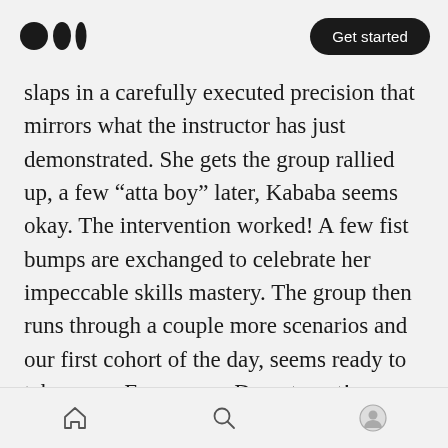Medium logo | Get started
slaps in a carefully executed precision that mirrors what the instructor has just demonstrated. She gets the group rallied up, a few “atta boy” later, Kababa seems okay. The intervention worked! A few fist bumps are exchanged to celebrate her impeccable skills mastery. The group then runs through a couple more scenarios and our first cohort of the day, seems ready to take on an Emergency Department!
12:00pm: We’ve conducted a good number of Curbside CPR sessions and sent a good number of
Home | Search | Profile